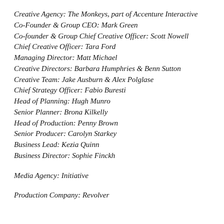Creative Agency: The Monkeys, part of Accenture Interactive
Co-Founder & Group CEO: Mark Green
Co-founder & Group Chief Creative Officer: Scott Nowell
Chief Creative Officer: Tara Ford
Managing Director: Matt Michael
Creative Directors: Barbara Humphries & Benn Sutton
Creative Team: Jake Ausburn & Alex Polglase
Chief Strategy Officer: Fabio Buresti
Head of Planning: Hugh Munro
Senior Planner: Brona Kilkelly
Head of Production: Penny Brown
Senior Producer: Carolyn Starkey
Business Lead: Kezia Quinn
Business Director: Sophie Finckh
Media Agency: Initiative
Production Company: Revolver